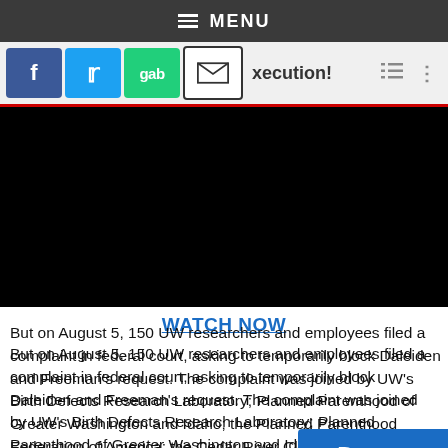≡ MENU
[Figure (screenshot): Social media share icons: Facebook (blue), Twitter (blue), Gab (green), Email (white/black envelope), partial site name 'xecution!' visible, right-side navigation icons]
[Figure (screenshot): Embedded video player showing a black/empty video frame]
WATCH NOW
But on August 5, 150 UW researchers and employees filed a complaint in federal court, asking to temporarily block Daleiden and Freeman's request. The complaint was joined by UW's Birth Defects Research Laboratory; Planned Parenthood of Greater Washington and Idaho; the Planned Parenthood Federation of America; the Cedar River Clinics; and Evergreen ...ical